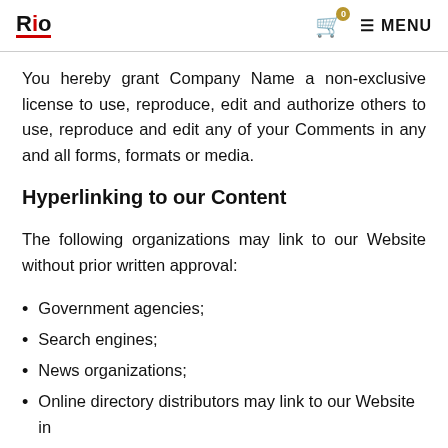Rio — 0 — MENU
You hereby grant Company Name a non-exclusive license to use, reproduce, edit and authorize others to use, reproduce and edit any of your Comments in any and all forms, formats or media.
Hyperlinking to our Content
The following organizations may link to our Website without prior written approval:
Government agencies;
Search engines;
News organizations;
Online directory distributors may link to our Website in